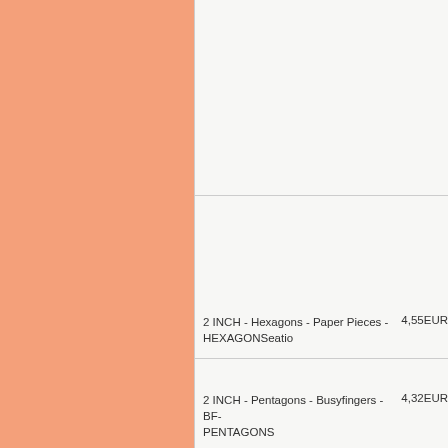[Figure (other): Left salmon/peach colored column, approximately 194px wide, full page height]
2 INCH - Hexagons - Paper Pieces - HEXAGONSeatio
4,55EUR
2 INCH - Pentagons - Busyfingers - BF-PENTAGONS
4,32EUR